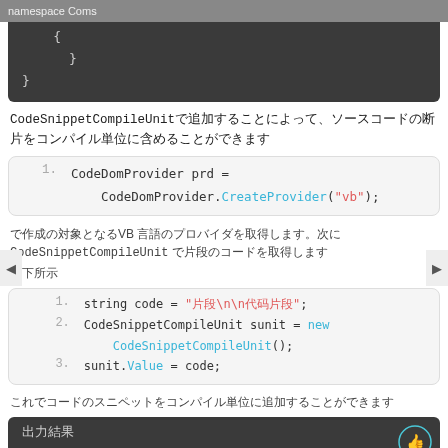namespace Coms
[Figure (screenshot): Dark code block showing namespace Coms with braces]
CodeSnippetCompileUnit（代码片段编译单元）用于表示源代码片段
[Figure (screenshot): Light code block line 1: CodeDomProvider prd = CodeDomProvider.CreateProvider("vb");]
这将创建一个VB 语言的代码提供者对象，接下来我们需要创建一个 CodeSnippetCompileUnit 对象来表示要编译的代码
如下所示
[Figure (screenshot): Light code block lines 1-3: string code, CodeSnippetCompileUnit sunit = new CodeSnippetCompileUnit(), sunit.Value = code]
这样我们就创建了一个代码片段编译单元
[Figure (screenshot): Dark code block footer area with thumb icon]